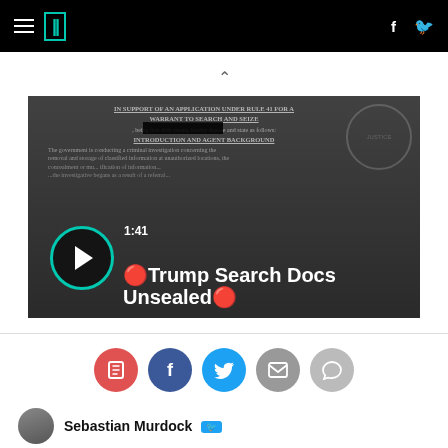HuffPost navigation with hamburger menu, logo, facebook and twitter icons
[Figure (screenshot): Video thumbnail showing a legal document (FBI search warrant affidavit) with play button overlay, timer 1:41, and title 'Trump Search Docs Unsealed']
[Figure (infographic): Social sharing button row: bookmark (red), Facebook (blue), Twitter (light blue), email (grey), comment (grey)]
Sebastian Murdock [Twitter icon]